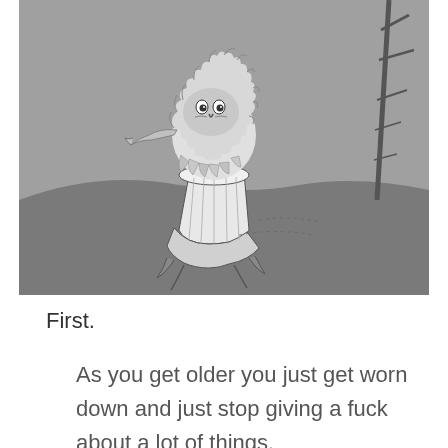[Figure (illustration): Dr. Seuss style black and white illustration of a fluffy bird-like creature (The Lorax) perched on top of a tree stump. The background is a grey hilly landscape with another bare tree on the right side.]
First.
As you get older you just get worn down and just stop giving a fuck about a lot of things.